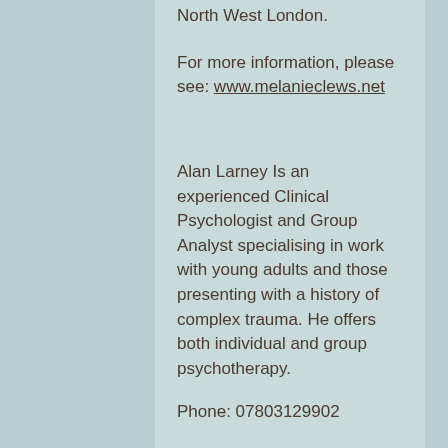North West London.
For more information, please see: www.melanieclews.net
Alan Larney Is an experienced Clinical Psychologist and Group Analyst specialising in work with young adults and those presenting with a history of complex trauma. He offers both individual and group psychotherapy.
Phone: 07803129902